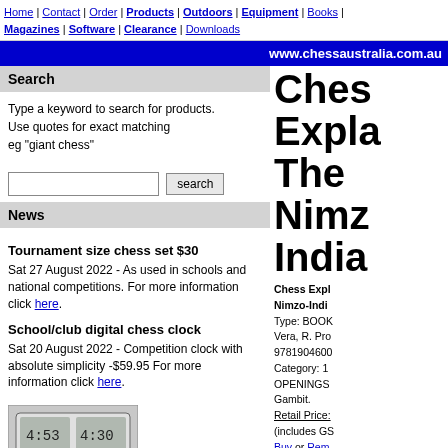Home | Contact | Order | Products | Outdoors | Equipment | Books | Magazines | Software | Clearance | Downloads
www.chessaustralia.com.au
Search
Type a keyword to search for products.
Use quotes for exact matching
eg "giant chess"
News
Tournament size chess set $30
Sat 27 August 2022 - As used in schools and national competitions. For more information click here.
School/club digital chess clock
Sat 20 August 2022 - Competition clock with absolute simplicity -$59.95 For more information click here.
[Figure (photo): Chess clock device photo]
Chess Explained The Nimzo-Indian
Chess Explained The Nimzo-Indian
Type: BOOK
Vera, R. Pro
9781904600
Category: 1
OPENINGS
Gambit.
Retail Price:
(includes GS
Buy or Rem